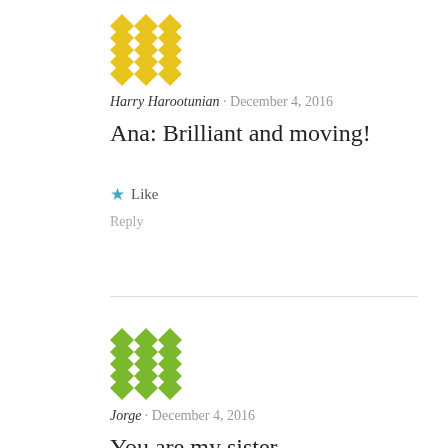[Figure (illustration): Yellow geometric avatar icon for Harry Harootunian]
Harry Harootunian · December 4, 2016
Ana: Brilliant and moving!
★ Like
Reply
[Figure (illustration): Green geometric avatar icon for Jorge]
Jorge · December 4, 2016
You are my sister